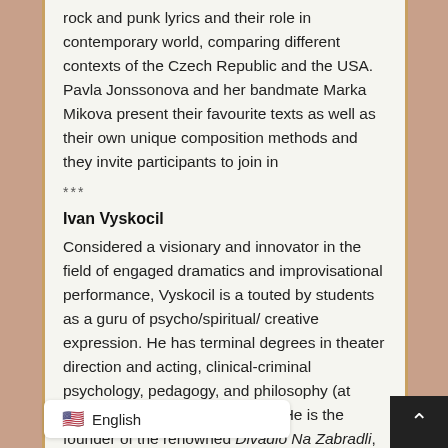rock and punk lyrics and their role in contemporary world, comparing different contexts of the Czech Republic and the USA. Pavla Jonssonova and her bandmate Marka Mikova present their favourite texts as well as their own unique composition methods and they invite participants to join in
***
Ivan Vyskocil
Considered a visionary and innovator in the field of engaged dramatics and improvisational performance, Vyskocil is a touted by students as a guru of psycho/spiritual/ creative expression. He has terminal degrees in theater direction and acting, clinical-criminal psychology, pedagogy, and philosophy (at DAMU and Charles University). He is the founder of the renowned Divadlo Na Zabradli, which is recognized as the Mecca of Czech theater, as well as (po-Theater). Though renowned as a t… siders himself one who studies with